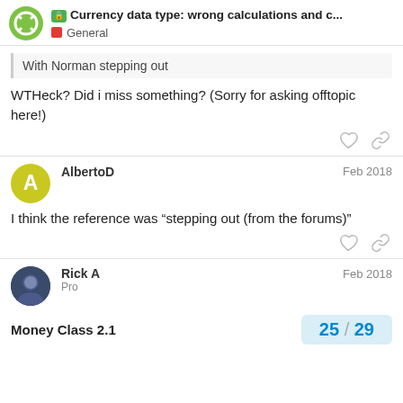Currency data type: wrong calculations and c... | General
With Norman stepping out
WTHeck? Did i miss something? (Sorry for asking offtopic here!)
AlbertoD  Feb 2018
I think the reference was “stepping out (from the forums)”
Rick A  Pro  Feb 2018
Money Class 2.1
25 / 29